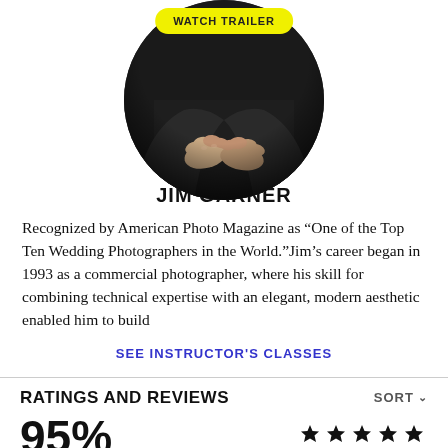[Figure (photo): Circular profile photo of instructor Jim Garner showing hands, with a yellow 'WATCH TRAILER' button overlaid at the top]
JIM GARNER
Recognized by American Photo Magazine as “One of the Top Ten Wedding Photographers in the World.”Jim’s career began in 1993 as a commercial photographer, where his skill for combining technical expertise with an elegant, modern aesthetic enabled him to build
SEE INSTRUCTOR'S CLASSES
RATINGS AND REVIEWS
95%
[Figure (other): Five gold star rating icons]